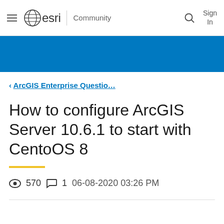esri Community — Sign In
‹ ArcGIS Enterprise Questio…
How to configure ArcGIS Server 10.6.1 to start with CentoOS 8
570 views  1 comment  06-08-2020 03:26 PM